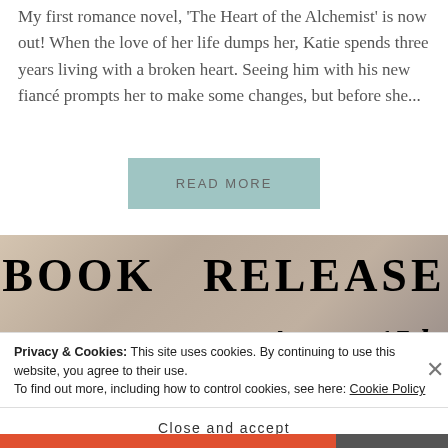My first romance novel, 'The Heart of the Alchemist' is now out! When the love of her life dumps her, Katie spends three years living with a broken heart. Seeing him with his new fiancé prompts her to make some changes, but before she...
READ MORE
[Figure (photo): Book release banner with muted warm-toned background (possibly a person holding a book), overlaid with large bold text 'BOOK RELEASE' and 'August 15th']
Privacy & Cookies: This site uses cookies. By continuing to use this website, you agree to their use. To find out more, including how to control cookies, see here: Cookie Policy
Close and accept